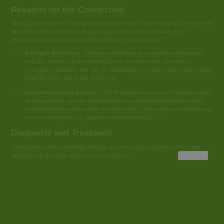Reasons for the Connection
Though studies are still being conducted in order to further assess the extent of the relationship between osteoporosis and periodontal disease, the researchers have thus far made the following connections:
Estrogen deficiency – Estrogen deficiency accompanies menopause and also speeds up the progression of oral bone loss. The lack of estrogen accelerates the rate of attachment loss (fibers and tissues which keep the teeth stable are destroyed).
Low mineral bone density – This is thought to be one of several causes of osteoporosis, and the inflammation from periodontal disease makes weakened bones more prone to break down. This is why periodontitis can be more progressive in patients with osteoporosis.
Diagnosis and Treatment
Osteoporosis and periodontal disease are much less dangerous if they are diagnosed in the early stages. Once a diagnos...